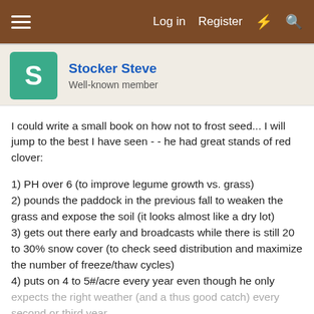≡   Log in   Register   ⚡   🔍
Stocker Steve
Well-known member
I could write a small book on how not to frost seed... I will jump to the best I have seen - - he had great stands of red clover:
1) PH over 6 (to improve legume growth vs. grass)
2) pounds the paddock in the previous fall to weaken the grass and expose the soil (it looks almost like a dry lot)
3) gets out there early and broadcasts while there is still 20 to 30% snow cover (to check seed distribution and maximize the number of freeze/thaw cycles)
4) puts on 4 to 5#/acre every year even though he only expects the right weather (and a thus good catch) every second or third year